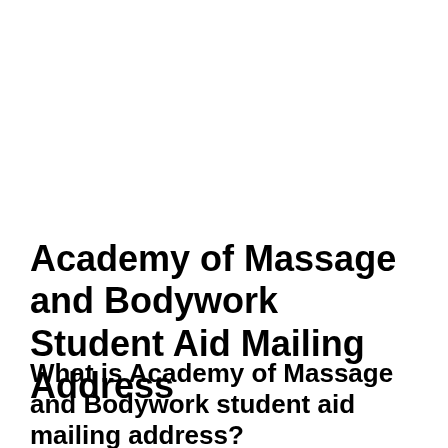Academy of Massage and Bodywork Student Aid Mailing Address
What is Academy of Massage and Bodywork student aid mailing address?